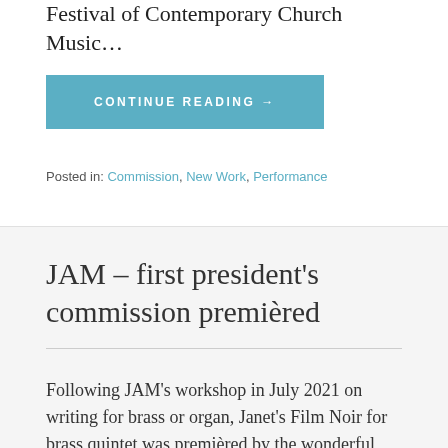Festival of Contemporary Church Music…
CONTINUE READING →
Posted in: Commission, New Work, Performance
JAM – first president's commission premièred
Following JAM's workshop in July 2021 on writing for brass or organ, Janet's Film Noir for brass quintet was premièred by the wonderful Onyx Brass at St Bride's